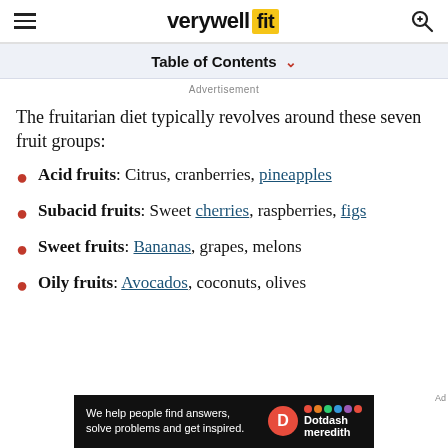verywell fit
Table of Contents
Advertisement
The fruitarian diet typically revolves around these seven fruit groups:
Acid fruits: Citrus, cranberries, pineapples
Subacid fruits: Sweet cherries, raspberries, figs
Sweet fruits: Bananas, grapes, melons
Oily fruits: Avocados, coconuts, olives
[Figure (other): Dotdash Meredith advertisement banner: 'We help people find answers, solve problems and get inspired.']